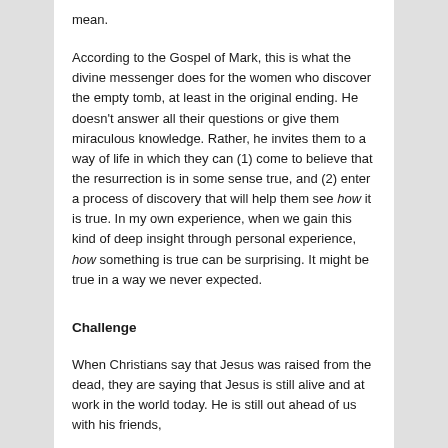mean.
According to the Gospel of Mark, this is what the divine messenger does for the women who discover the empty tomb, at least in the original ending. He doesn’t answer all their questions or give them miraculous knowledge. Rather, he invites them to a way of life in which they can (1) come to believe that the resurrection is in some sense true, and (2) enter a process of discovery that will help them see how it is true. In my own experience, when we gain this kind of deep insight through personal experience, how something is true can be surprising. It might be true in a way we never expected.
Challenge
When Christians say that Jesus was raised from the dead, they are saying that Jesus is still alive and at work in the world today. He is still out ahead of us with his friends,